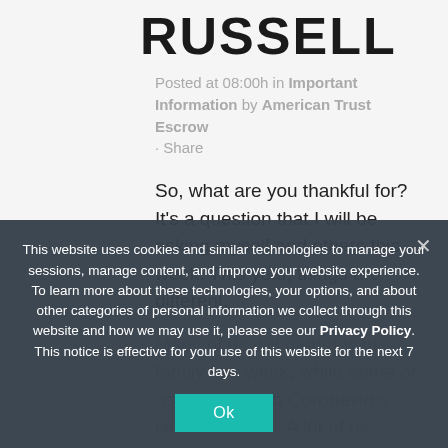RUSSELL
Posted at 08:00h in Important Information by American Trust Escrow · Share
So, what are you thankful for? It's a question that I will be asking myself and others this week. This year, things are different.
Many of us will gather with family this week, while some of us won't due to Coronavirus circumstances. A lot of us ... Given all that is going on in our world. Even with all of this, there are still so many reasons to feel gratitude and be thankful (even if you have to dig deep...
This website uses cookies and similar technologies to manage your sessions, manage content, and improve your website experience. To learn more about these technologies, your options, and about other categories of personal information we collect through this website and how we may use it, please see our Privacy Policy. This notice is effective for your use of this website for the next 7 days.